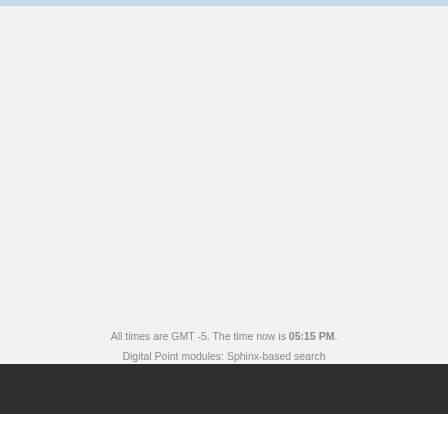All times are GMT -5. The time now is 05:15 PM.
Digital Point modules: Sphinx-based search